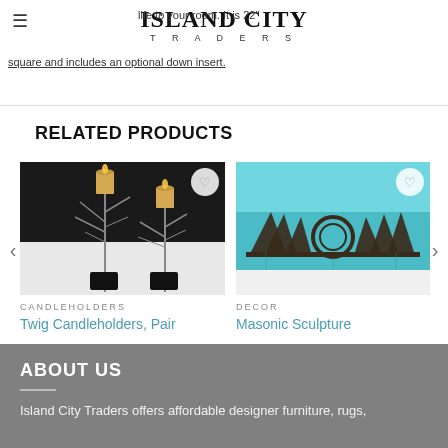Island City Traders — life to your room. It is 22" square and includes an optional down insert.
RELATED PRODUCTS
[Figure (photo): Twig Candleholders pair product image on dark background]
CANDLEHOLDERS
Twig Candleholders, Pair
[Figure (photo): Masonic Sculpture product image with teal pool background]
DECOR
Masonic Sculpture
ABOUT US
Island City Traders offers affordable designer furniture, rugs,